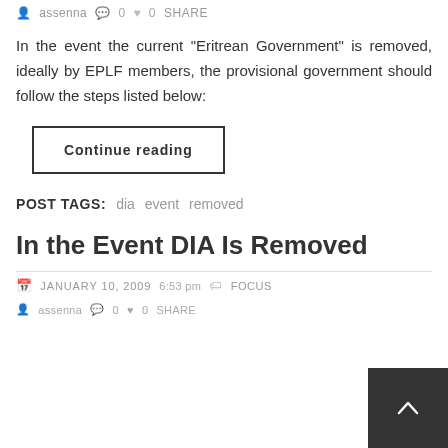assenna  0  0  SHARE
In the event the current “Eritrean Government” is removed, ideally by EPLF members, the provisional government should follow the steps listed below:
Continue reading
POST TAGS:  dia  event  removed
In the Event DIA Is Removed
JANUARY 10, 2009  6:53 pm  FOCUS
assenna  0  0  SHARE